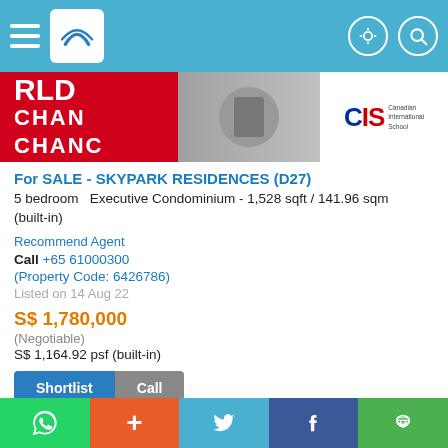Navigation bar with menu, logo, and icons
[Figure (screenshot): Advertisement banner with red section showing 'RLD CHANC' text and CIS Canadian International School logo]
For SALE - SKYPARK RESIDENCES (D27)
5 bedroom  Executive Condominium - 1,528 sqft / 141.96 sqm (built-in)
Recommend Agent
Call +65 61000300
(Property Code: 6426786)
Listed on 14 Aug 22
S$ 1,780,000
(Negotiable)
S$ 1,164.92 psf (built-in)
For SALE - SKYPARK RESIDENCES (D27)
3 bedroom  Executive Condominium - 1,141 sqft / 106 sqm (built-in)
Recommend Agent
Social sharing bar: WhatsApp, Add, Twitter, Facebook, WeChat